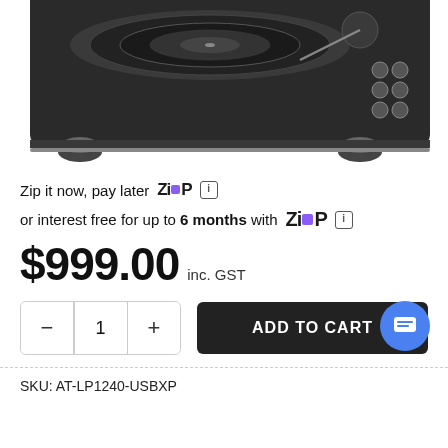[Figure (photo): Partial top-down view of a black DJ turntable/record player on white background]
Zip it now, pay later  ZIP  ℹ
or interest free for up to 6 months with  ZIP  ℹ
$999.00 inc. GST
- 1 +  ADD TO CART
SKU: AT-LP1240-USBXP